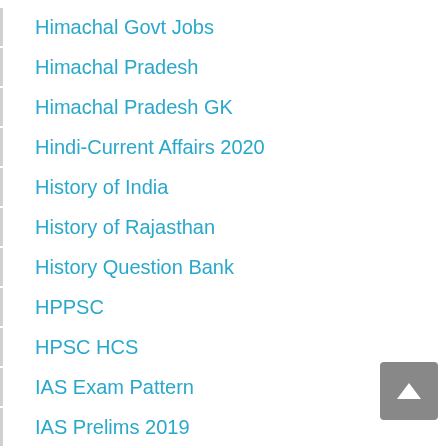Himachal Govt Jobs
Himachal Pradesh
Himachal Pradesh GK
Hindi-Current Affairs 2020
History of India
History of Rajasthan
History Question Bank
HPPSC
HPSC HCS
IAS Exam Pattern
IAS Prelims 2019
IAS Prelims 2020
IAS Prelims 2020 Crash Course
IAS Prelims 2021
IAS Prelims 2023